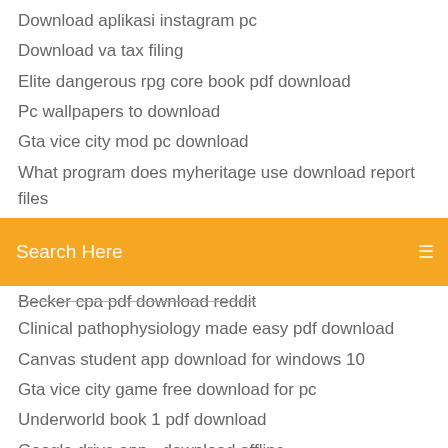Download aplikasi instagram pc
Download va tax filing
Elite dangerous rpg core book pdf download
Pc wallpapers to download
Gta vice city mod pc download
What program does myheritage use download report files
[Figure (screenshot): Orange search bar with text 'Search Here' and a menu icon on the right]
Becker cpa pdf download reddit
Clinical pathophysiology made easy pdf download
Canvas student app download for windows 10
Gta vice city game free download for pc
Underworld book 1 pdf download
Google drive app - download offline
Download books the coup 1953 cia pdf
How to download pvwatts to pdf
The sims 4 android apk download
Unreleased songs justin bieber mp3 converter free download